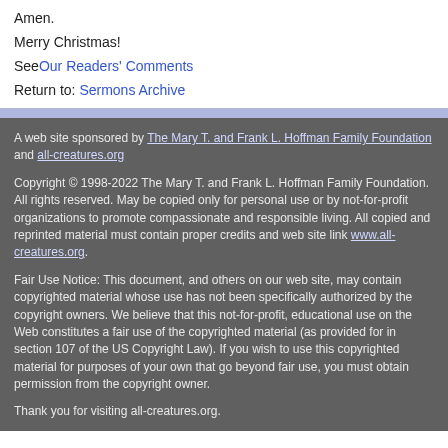Amen.
Merry Christmas!
See Our Readers' Comments
Return to: Sermons Archive
A web site sponsored by The Mary T. and Frank L. Hoffman Family Foundation and all-creatures.org
Copyright © 1998-2022 The Mary T. and Frank L. Hoffman Family Foundation. All rights reserved. May be copied only for personal use or by not-for-profit organizations to promote compassionate and responsible living. All copied and reprinted material must contain proper credits and web site link www.all-creatures.org.
Fair Use Notice: This document, and others on our web site, may contain copyrighted material whose use has not been specifically authorized by the copyright owners. We believe that this not-for-profit, educational use on the Web constitutes a fair use of the copyrighted material (as provided for in section 107 of the US Copyright Law). If you wish to use this copyrighted material for purposes of your own that go beyond fair use, you must obtain permission from the copyright owner.
Thank you for visiting all-creatures.org.